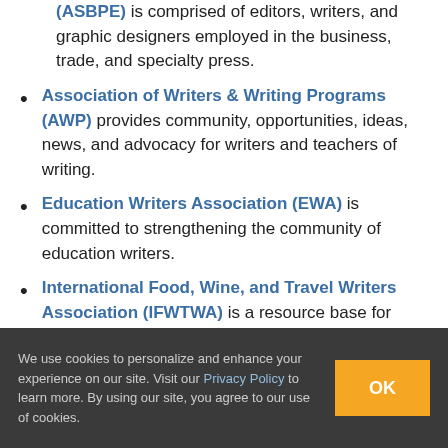(ASBPE) is comprised of editors, writers, and graphic designers employed in the business, trade, and specialty press.
Association of Writers & Writing Programs (AWP) provides community, opportunities, ideas, news, and advocacy for writers and teachers of writing.
Education Writers Association (EWA) is committed to strengthening the community of education writers.
International Food, Wine, and Travel Writers Association (IFWTWA) is a resource base for writers and other professionals in the food, wine, and travel industries.
International Motor Press Association (IMPA) is
We use cookies to personalize and enhance your experience on our site. Visit our Privacy Policy to learn more. By using our site, you agree to our use of cookies.